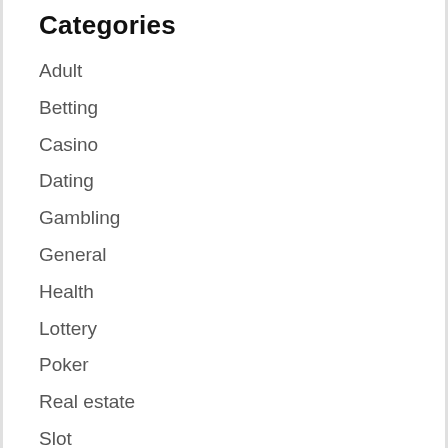Categories
Adult
Betting
Casino
Dating
Gambling
General
Health
Lottery
Poker
Real estate
Slot